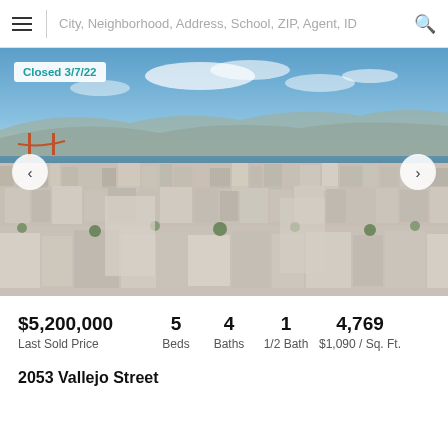City, Neighborhood, Address, School, ZIP, Agent, ID
[Figure (photo): Aerial photograph of San Francisco showing dense urban cityscape with bay, Golden Gate Bridge in background, and hills. Overlay badge reads 'Closed 3/7/22'.]
$5,200,000 Last Sold Price | 5 Beds | 4 Baths | 1 1/2 Bath | 4,769 $1,090 / Sq. Ft.
2053 Vallejo Street